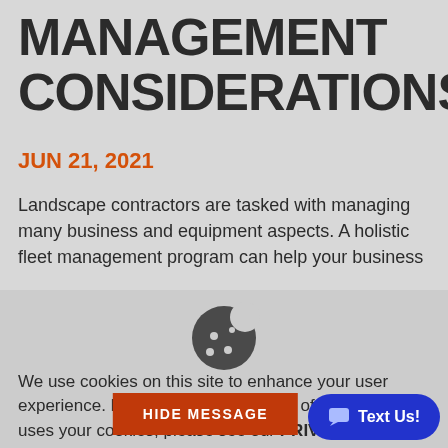MANAGEMENT CONSIDERATIONS
JUN 21, 2021
Landscape contractors are tasked with managing many business and equipment aspects. A holistic fleet management program can help your business
[Figure (illustration): Cookie icon (dark grey cookie with bite taken out and dots)]
We use cookies on this site to enhance your user experience. For a complete overview of how our site uses your cookies, please see our PRIVACY POLICY.
HIDE MESSAGE
Text Us!